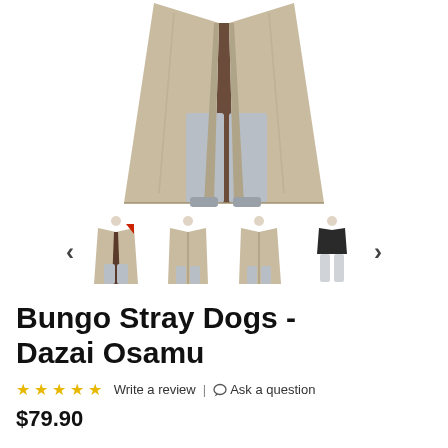[Figure (photo): Main product image showing Bungo Stray Dogs Dazai Osamu costume - a long beige/tan trench coat with grey pants on a mannequin, cropped to show waist down]
[Figure (photo): Thumbnail gallery row showing 4 costume images with left/right navigation arrows. Images show full costume views from different angles including front with coat open, front full view, side view, and separates.]
Bungo Stray Dogs - Dazai Osamu
Write a review | Ask a question
$79.90